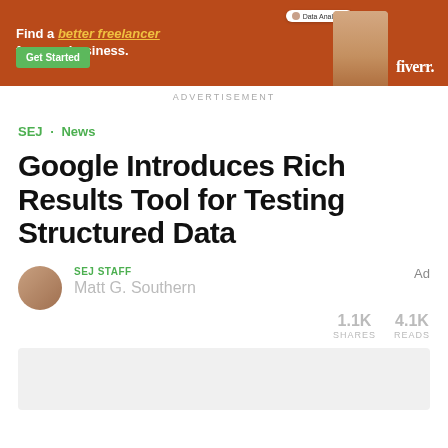[Figure (photo): Fiverr advertisement banner with orange/brown background showing a woman in beige turtleneck with arms crossed, 'Find a better freelancer for your business.' text, green Get Started button, and Fiverr logo]
ADVERTISEMENT
SEJ · News
Google Introduces Rich Results Tool for Testing Structured Data
SEJ STAFF
Matt G. Southern
Ad
1.1K SHARES  4.1K READS